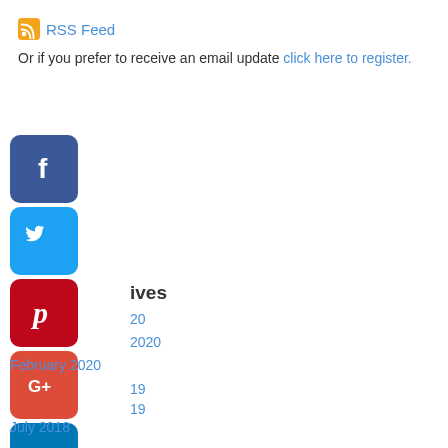RSS Feed
Or if you prefer to receive an email update click here to register.
[Figure (illustration): Facebook social media icon button (blue rounded square with white f logo)]
[Figure (illustration): Twitter social media icon button (light blue rounded square with white bird logo)]
[Figure (illustration): Pinterest social media icon button (red rounded square with white P logo)]
ives
[Figure (illustration): Google Plus social media icon button (red rounded square with white G+ logo)]
20
2020
February 2020
[Figure (illustration): LinkedIn social media icon button (blue rounded square with white in logo)]
19
19
July 2018
June 2017